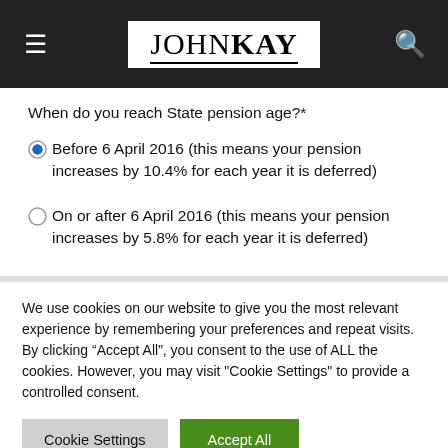JOHNKAY
When do you reach State pension age?*
Before 6 April 2016 (this means your pension increases by 10.4% for each year it is deferred)
On or after 6 April 2016 (this means your pension increases by 5.8% for each year it is deferred)
We use cookies on our website to give you the most relevant experience by remembering your preferences and repeat visits. By clicking “Accept All”, you consent to the use of ALL the cookies. However, you may visit "Cookie Settings" to provide a controlled consent.